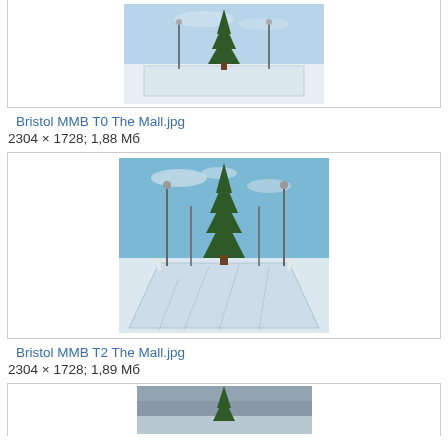[Figure (photo): Outdoor ice rink with a large evergreen tree and lamp posts, snow-covered ground, clear day]
Bristol MMB T0 The Mall.jpg
2304 × 1728; 1,88 Мб
[Figure (photo): Outdoor ice rink with a large evergreen tree and lamp posts, blue sky with light clouds, shadows on ice]
Bristol MMB T2 The Mall.jpg
2304 × 1728; 1,89 Мб
[Figure (photo): Outdoor scene with an evergreen tree, overcast sky, partial view]